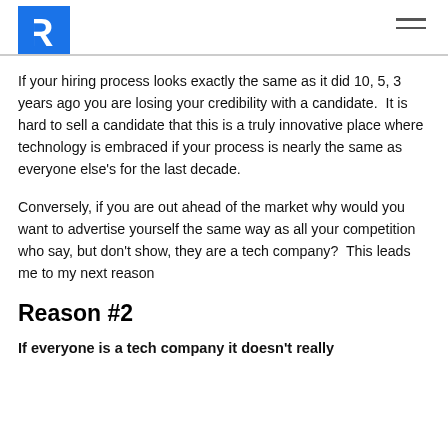R [logo]
If your hiring process looks exactly the same as it did 10, 5, 3 years ago you are losing your credibility with a candidate.  It is hard to sell a candidate that this is a truly innovative place where technology is embraced if your process is nearly the same as everyone else's for the last decade.
Conversely, if you are out ahead of the market why would you want to advertise yourself the same way as all your competition who say, but don't show, they are a tech company?  This leads me to my next reason
Reason #2
If everyone is a tech company it doesn't really